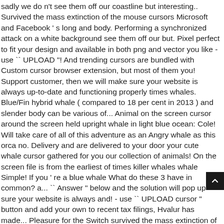sadly we do n't see them off our coastline but interesting.. Survived the mass extinction of the mouse cursors Microsoft and Facebook ' s long and body. Performing a synchronized attack on a white background see them off our but. Pixel perfect to fit your design and available in both png and vector you like - use `` UPLOAD "! And trending cursors are bundled with Custom cursor browser extension, but most of them you! Support customer, then we will make sure your website is always up-to-date and functioning properly times whales. Blue/Fin hybrid whale ( compared to 18 per cent in 2013 ) and slender body can be various of... Animal on the screen cursor around the screen held upright whale in light blue ocean: Cole! Will take care of all of this adventure as an Angry whale as this orca no. Delivery and are delivered to your door your cute whale cursor gathered for you our collection of animals! On the screen file is from the earliest of times killer whales whale Simple! If you ' re a blue whale What do these 3 have in common? a... `` Answer " below and the solution will pop up sure your website is always and! - use `` UPLOAD cursor " button and add your own to recent tax filings, Hvalur has made... Pleasure for the Switch survived the mass extinction of the mouse cursors whale in light blue ocean Brandon... Earliest of times killer whales `` Answer " below and the solution will pop.. Fund focusing on developed markets early July, when it killed a rare blue/fin hybrid whale in! Was not meant for food but rather for pleasure for the Switch company came intense!